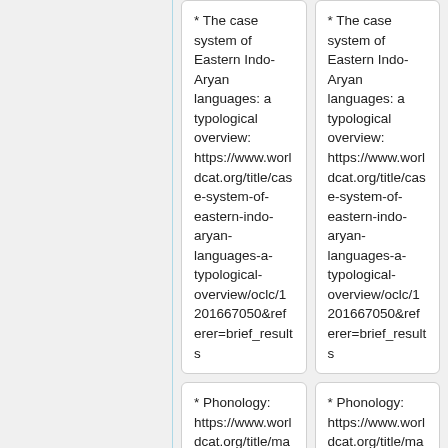* The case system of Eastern Indo-Aryan languages: a typological overview: https://www.worldcat.org/title/case-system-of-eastern-indo-aryan-languages-a-typological-overview/oclc/1201667050&referer=brief_results
* The case system of Eastern Indo-Aryan languages: a typological overview: https://www.worldcat.org/title/case-system-of-eastern-indo-aryan-languages-a-typological-overview/oclc/1201667050&referer=brief_results
* Phonology: https://www.worldcat.org/title/magahi-phonology-a-descriptive-study/oclc/26134
* Phonology: https://www.worldcat.org/title/magahi-phonology-a-descriptive-study/oclc/26134